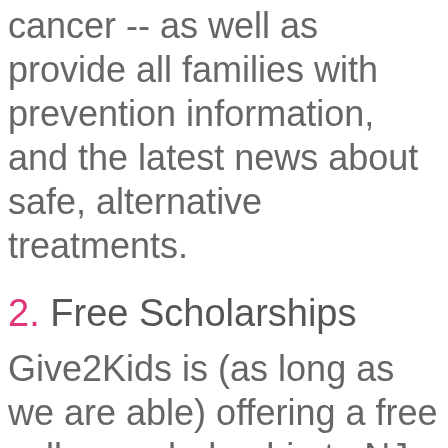cancer -- as well as provide all families with prevention information, and the latest news about safe, alternative treatments.
2. Free Scholarships
Give2Kids is (as long as we are able) offering a free college scholarship to NJ marketing students who qualify. Your kind and generous donation (either vehicles or cash donations) help us to maintain the